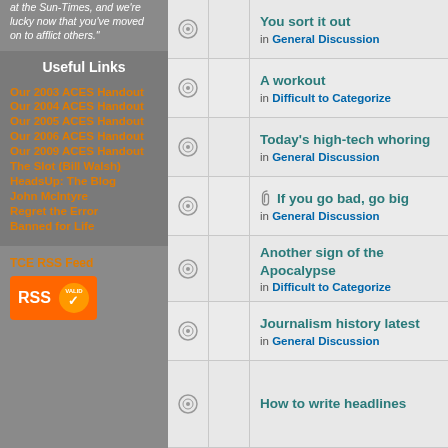at the Sun-Times, and we're lucky now that you've moved on to afflict others."
Useful Links
Our 2003 ACES Handout
Our 2004 ACES Handout
Our 2005 ACES Handout
Our 2006 ACES Handout
Our 2009 ACES Handout
The Slot (Bill Walsh)
HeadsUp: The Blog
John McIntyre
Regret the Error
Banned for Life
TCE RSS Feed
|  |  | Topic |
| --- | --- | --- |
|  |  | You sort it out
in General Discussion |
|  |  | A workout
in Difficult to Categorize |
|  |  | Today's high-tech whoring
in General Discussion |
|  |  | If you go bad, go big
in General Discussion |
|  |  | Another sign of the Apocalypse
in Difficult to Categorize |
|  |  | Journalism history latest
in General Discussion |
|  |  | How to write headlines |